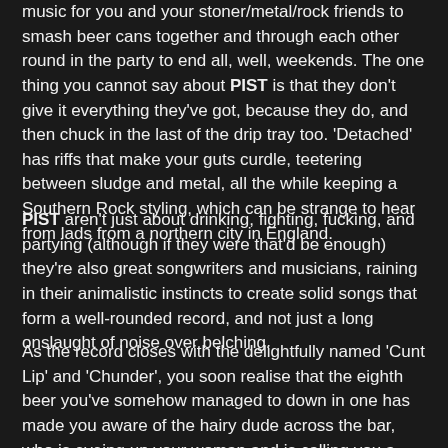music for you and your stoner/metal/rock friends to smash beer cans together and through each other round in the party to end all, well, weekends. The one thing you cannot say about PIST is that they don't give it everything they've got, because they do, and then chuck in the last of the drip tray too. 'Detached' has riffs that make your guts curdle, teetering between sludge and metal, all the while keeping a Southern Rock styling, which can be strange to hear from lads from a northern city in England.
PIST aren't just about drinking, fighting, fucking, and partying (although if they were that'd be enough) they're also great songwriters and musicians, raining in their animalistic instincts to create solid songs that form a well-rounded record, and not just a long onslaught of noise over belching.
As the record closes with the delightfully named 'Cunt Lip' and 'Chunder', you soon realise that the eighth beer you've somehow managed to down in one has made you aware of the hairy dude across the bar, who is eyeing up your woman and is calling you a pussy, and that he wants to brawl, and that everyone in the room is up for a good old punch up, and